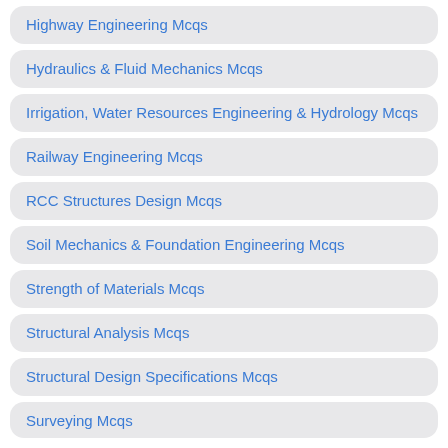Highway Engineering Mcqs
Hydraulics & Fluid Mechanics Mcqs
Irrigation, Water Resources Engineering & Hydrology Mcqs
Railway Engineering Mcqs
RCC Structures Design Mcqs
Soil Mechanics & Foundation Engineering Mcqs
Strength of Materials Mcqs
Structural Analysis Mcqs
Structural Design Specifications Mcqs
Surveying Mcqs